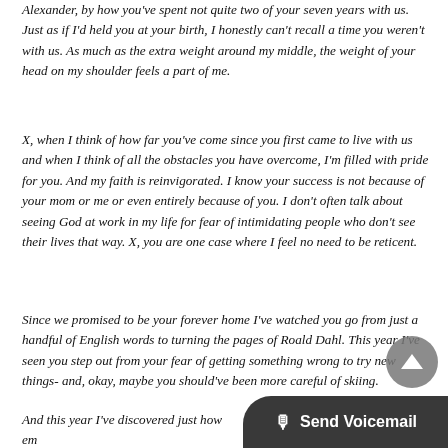Alexander, by how you've spent not quite two of your seven years with us. Just as if I'd held you at your birth, I honestly can't recall a time you weren't with us. As much as the extra weight around my middle, the weight of your head on my shoulder feels a part of me.
X, when I think of how far you've come since you first came to live with us and when I think of all the obstacles you have overcome, I'm filled with pride for you. And my faith is reinvigorated. I know your success is not because of your mom or me or even entirely because of you. I don't often talk about seeing God at work in my life for fear of intimidating people who don't see their lives that way. X, you are one case where I feel no need to be reticent.
Since we promised to be your forever home I've watched you go from just a handful of English words to turning the pages of Roald Dahl. This year I've seen you step out from your fear of getting something wrong to try new things- and, okay, maybe you should've been more careful of skiing.
And this year I've discovered just how em... With everyone. I can't guess what path you will choose when you are...